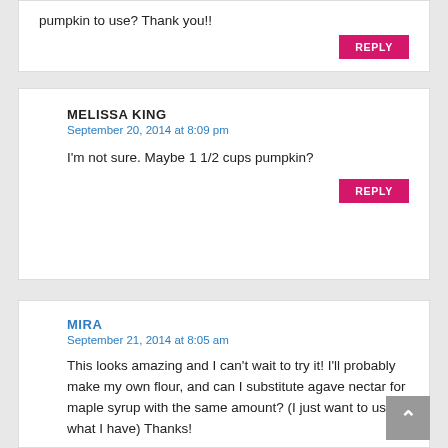pumpkin to use? Thank you!!
REPLY
MELISSA KING
September 20, 2014 at 8:09 pm
I'm not sure. Maybe 1 1/2 cups pumpkin?
REPLY
MIRA
September 21, 2014 at 8:05 am
This looks amazing and I can't wait to try it! I'll probably make my own flour, and can I substitute agave nectar for maple syrup with the same amount? (I just want to use what I have) Thanks!